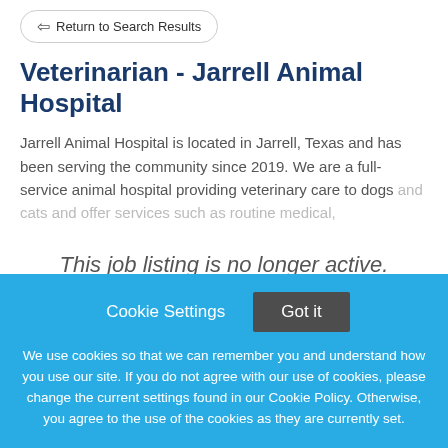Return to Search Results
Veterinarian - Jarrell Animal Hospital
Jarrell Animal Hospital is located in Jarrell, Texas and has been serving the community since 2019. We are a full-service animal hospital providing veterinary care to dogs and cats and offer services such as routine medical,
This job listing is no longer active.
Cookie Settings
Got it
We use cookies so that we can remember you and understand how you use our site. If you do not agree with our use of cookies, please change the current settings found in our Cookie Policy. Otherwise, you agree to the use of the cookies as they are currently set.